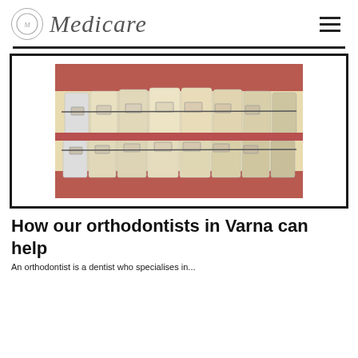Medicare
[Figure (photo): Close-up photo of a person's mouth showing teeth with ceramic/clear dental braces and metal wire orthodontic treatment]
How our orthodontists in Varna can help
An orthodontist is a dentist who specialises in...